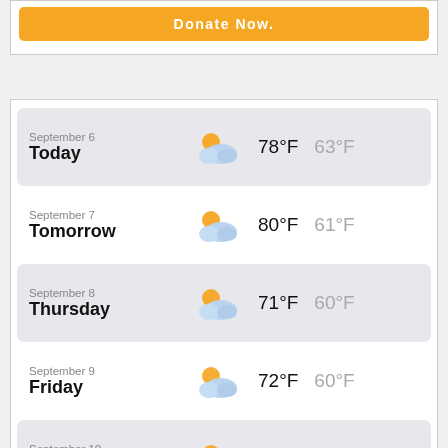[Figure (screenshot): Donate Now orange button at top of page]
| Date | Day | Condition | High | Low |
| --- | --- | --- | --- | --- |
| September 6 | Today | Partly Cloudy | 78°F | 63°F |
| September 7 | Tomorrow | Partly Cloudy | 80°F | 61°F |
| September 8 | Thursday | Partly Cloudy | 71°F | 60°F |
| September 9 | Friday | Partly Cloudy | 72°F | 60°F |
| September 10 | Saturday | Partly Cloudy | 64°F | 62°F |
| September 11 | Sunday | Partly Cloudy | 74°F | 63°F |